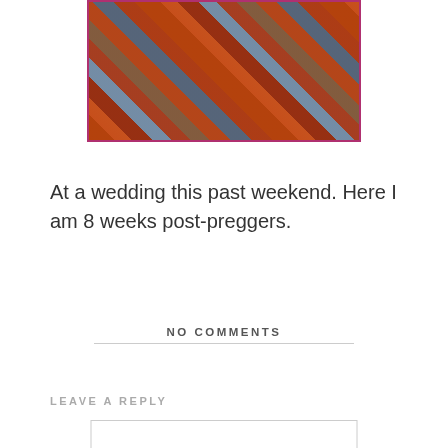[Figure (photo): A person wearing a floral orange, red, and blue patterned dress or outfit, photographed from below the shoulders, standing on what appears to be a dark floor. The image is cropped at the top.]
At a wedding this past weekend. Here I am 8 weeks post-preggers.
NO COMMENTS
LEAVE A REPLY